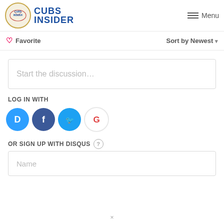Cubs Insider
Favorite
Sort by Newest
Start the discussion…
LOG IN WITH
[Figure (illustration): Four social login icons: Disqus (blue), Facebook (dark blue), Twitter (light blue), Google (white with G)]
OR SIGN UP WITH DISQUS ?
Name